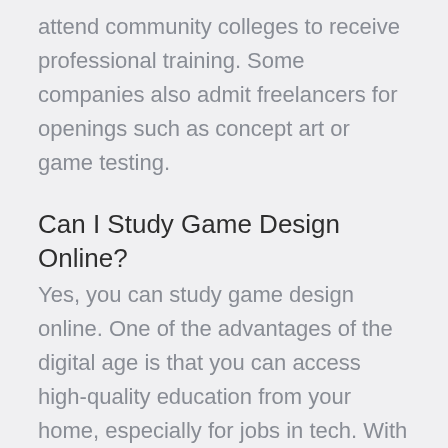attend community colleges to receive professional training. Some companies also admit freelancers for openings such as concept art or game testing.
Can I Study Game Design Online?
Yes, you can study game design online. One of the advantages of the digital age is that you can access high-quality education from your home, especially for jobs in tech. With modern higher education alternatives such as online colleges,